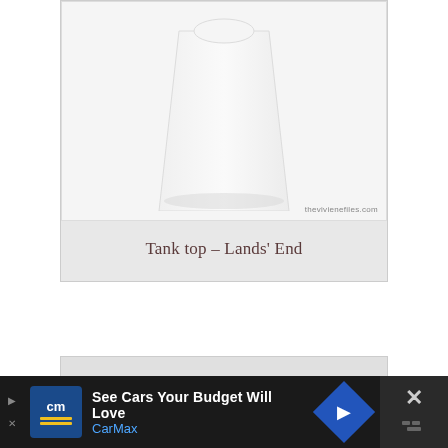[Figure (photo): A white tank top/skirt garment shown on a light grey background, with watermark 'thevivienefiles.com' in bottom right corner]
Tank top – Lands' End
As always, I've thought of a few things to keep in mind as you consider your summer supply of tops: